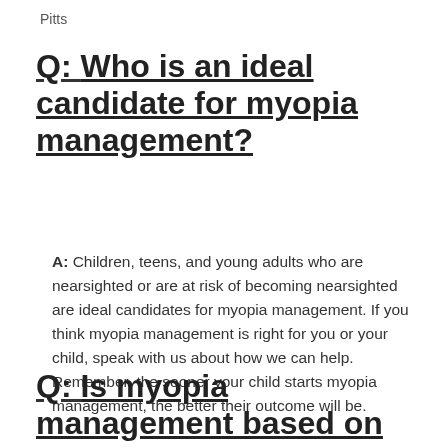Pitts
Q: Who is an ideal candidate for myopia management?
A: Children, teens, and young adults who are nearsighted or are at risk of becoming nearsighted are ideal candidates for myopia management. If you think myopia management is right for you or your child, speak with us about how we can help. Remember, the sooner your child starts myopia management, the better their outcome will be.
Q: Is myopia management based on